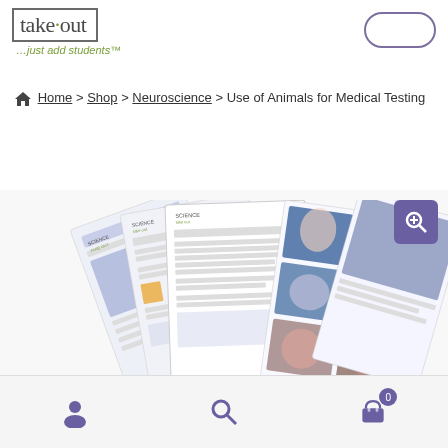[Figure (logo): Science Take-Out logo with box around 'take·out' text and tagline '...just add students™']
🏠 Home > Shop > Neuroscience > Use of Animals for Medical Testing
[Figure (photo): Fanned-out product pages showing 'Use of Animals for Medical Testing' science take-out kit with worksheets and brain/medical images]
Navigation bar with user icon, search icon, and cart icon (0 items)